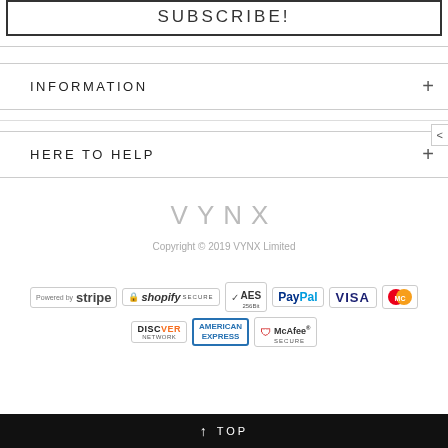SUBSCRIBE!
INFORMATION
HERE TO HELP
VYNX
Copyright © 2019 VYNX Limited
[Figure (logo): Payment method logos: Stripe, Shopify Secure, AES 256Bit, PayPal, VISA, Mastercard, Discover Network, American Express, McAfee Secure]
↑ TOP